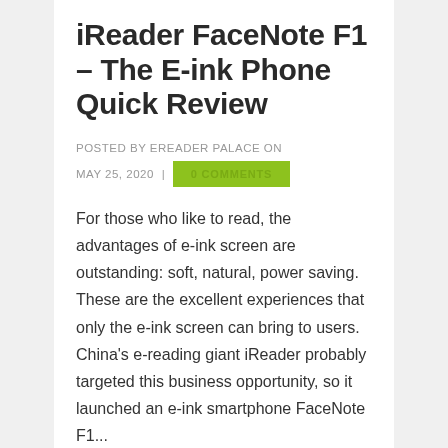iReader FaceNote F1 – The E-ink Phone Quick Review
POSTED BY EREADER PALACE ON MAY 25, 2020 | 0 COMMENTS
For those who like to read, the advantages of e-ink screen are outstanding: soft, natural, power saving. These are the excellent experiences that only the e-ink screen can bring to users. China's e-reading giant iReader probably targeted this business opportunity, so it launched an e-ink smartphone FaceNote F1...